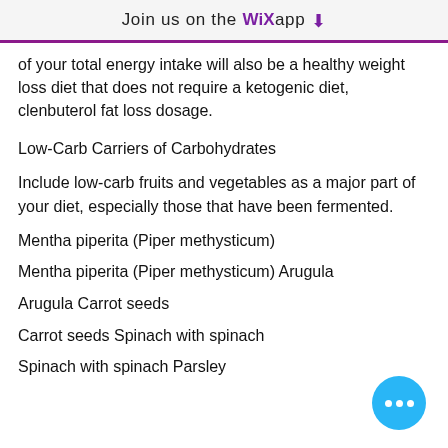Join us on the WiX app ↓
of your total energy intake will also be a healthy weight loss diet that does not require a ketogenic diet, clenbuterol fat loss dosage.
Low-Carb Carriers of Carbohydrates
Include low-carb fruits and vegetables as a major part of your diet, especially those that have been fermented.
Mentha piperita (Piper methysticum)
Mentha piperita (Piper methysticum) Arugula
Arugula Carrot seeds
Carrot seeds Spinach with spinach
Spinach with spinach Parsley